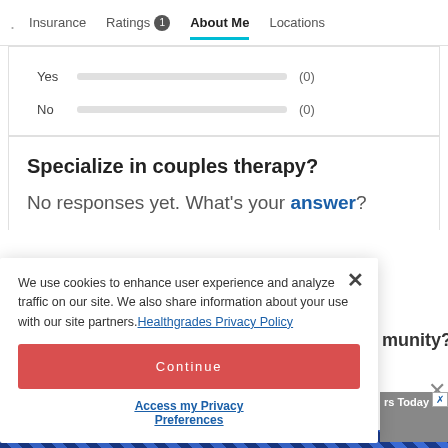Insurance  Ratings 1  About Me  Locations
Yes (0)
No (0)
Specialize in couples therapy?
No responses yet. What's your answer?
We use cookies to enhance user experience and analyze traffic on our site. We also share information about your use with our site partners. Healthgrades Privacy Policy
Continue
Access my Privacy Preferences